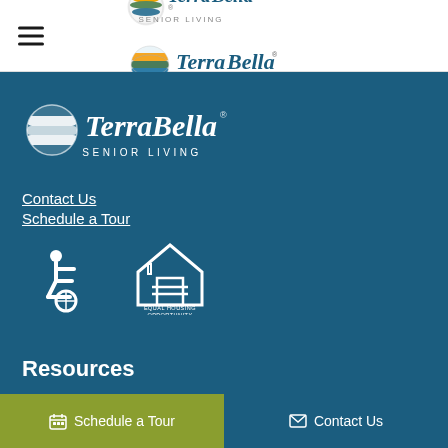[Figure (logo): TerraBella Senior Living logo in navigation bar]
[Figure (logo): TerraBella Senior Living logo large white version on dark blue background]
Contact Us
Schedule a Tour
[Figure (illustration): Wheelchair accessibility icon (white) and Equal Housing Opportunity logo (white)]
Resources
Schedule a Tour
Contact Us